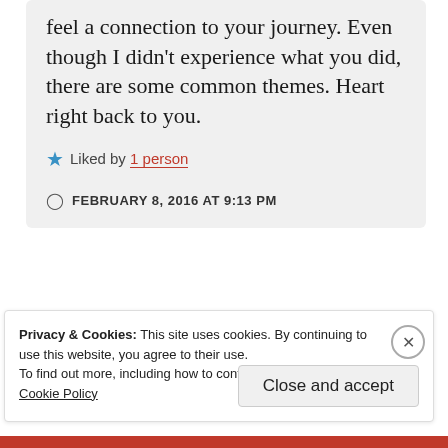feel a connection to your journey. Even though I didn't experience what you did, there are some common themes. Heart right back to you.
Liked by 1 person
FEBRUARY 8, 2016 AT 9:13 PM
Privacy & Cookies: This site uses cookies. By continuing to use this website, you agree to their use. To find out more, including how to control cookies, see here: Cookie Policy
Close and accept